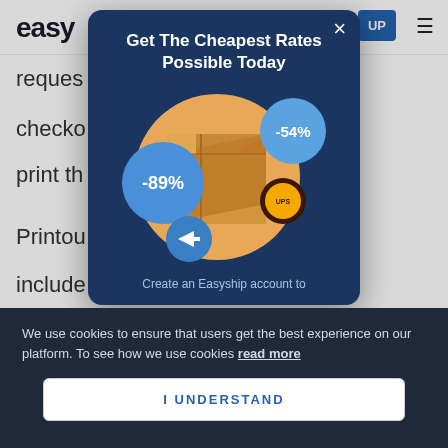easy
reques
checko
print th
Printou
include
vital pu
[Figure (screenshot): Modal popup with dark navy background showing 'Get The Cheapest Rates Possible Today' headline, a UPS shipping box on an orange circle background, two discount bubbles showing -89% and -54%, USPS arrow logo, UPS logo badge, and text 'Create an Easyship account to']
We use cookies to ensure that users get the best experience on our platform. To see how we use cookies read more